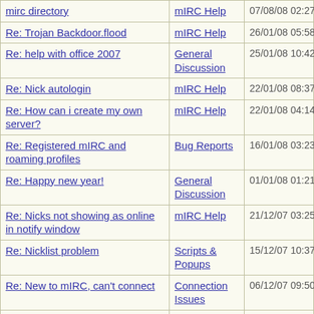| Topic | Forum | Date |
| --- | --- | --- |
| mirc directory | mIRC Help | 07/08/08 02:27 AM |
| Re: Trojan Backdoor.flood | mIRC Help | 26/01/08 05:58 PM |
| Re: help with office 2007 | General Discussion | 25/01/08 10:42 AM |
| Re: Nick autologin | mIRC Help | 22/01/08 08:37 PM |
| Re: How can i create my own server? | mIRC Help | 22/01/08 04:14 PM |
| Re: Registered mIRC and roaming profiles | Bug Reports | 16/01/08 03:23 PM |
| Re: Happy new year! | General Discussion | 01/01/08 01:21 AM |
| Re: Nicks not showing as online in notify window | mIRC Help | 21/12/07 03:25 AM |
| Re: Nicklist problem | Scripts & Popups | 15/12/07 10:37 PM |
| Re: New to mIRC, can't connect | Connection Issues | 06/12/07 09:50 AM |
| Re: costumize channels list menu | Feature Suggestions | 12/09/07 02:21 PM |
| costumize channels list menu | Feature Suggestions | 11/09/07 11:39 PM |
| Re: * /splay: unable to play | Scripts & Popups | 01/09/07 07:24 PM |